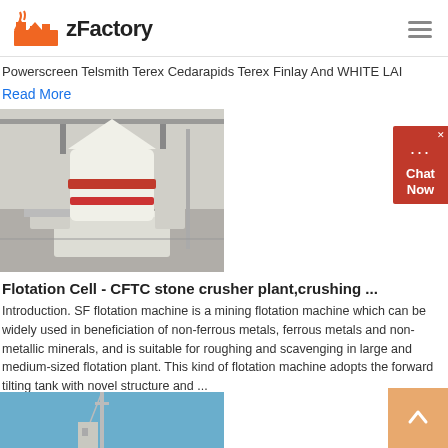zFactory
Powerscreen Telsmith Terex Cedarapids Terex Finlay And WHITE LAI
Read More
[Figure (photo): Large white industrial flotation cell machine in a factory setting]
Flotation Cell - CFTC stone crusher plant,crushing ...
Introduction. SF flotation machine is a mining flotation machine which can be widely used in beneficiation of non-ferrous metals, ferrous metals and non-metallic minerals, and is suitable for roughing and scavenging in large and medium-sized flotation plant. This kind of flotation machine adopts the forward tilting tank with novel structure and ...
Read More
[Figure (photo): Industrial plant machinery against blue sky]